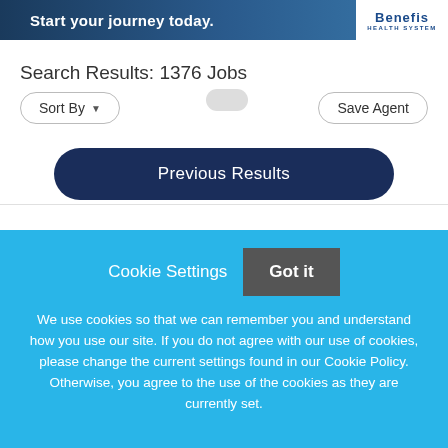[Figure (screenshot): Banner with text 'Start your journey today.' and Benefis Health System logo on the right]
Search Results: 1376 Jobs
Sort By ▼
Save Agent
Previous Results
Cookie Settings
Got it
We use cookies so that we can remember you and understand how you use our site. If you do not agree with our use of cookies, please change the current settings found in our Cookie Policy. Otherwise, you agree to the use of the cookies as they are currently set.